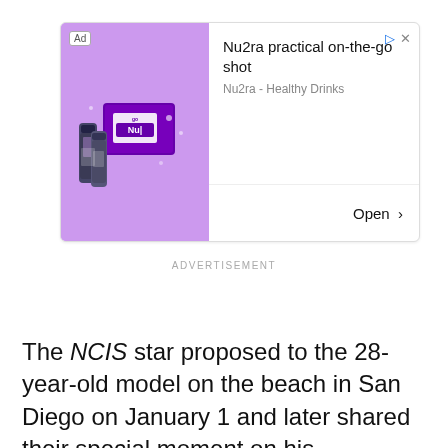[Figure (screenshot): Advertisement banner for Nu2ra healthy drinks product showing a purple box and shot bottles on a purple background. Ad label in top left, navigation icons in top right. Text reads 'Nu2ra practical on-the-go shot' and 'Nu2ra - Healthy Drinks' with an Open button.]
ADVERTISEMENT
The NCIS star proposed to the 28-year-old model on the beach in San Diego on January 1 and later shared their special moment on his Instagram.